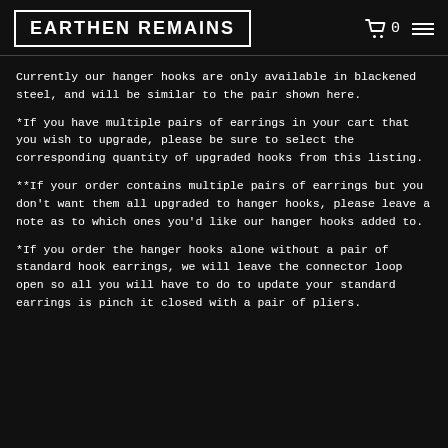EARTHEN REMAINS
Currently our hanger hooks are only available in blackened steel, and will be similar to the pair shown here.
*If you have multiple pairs of earrings in your cart that you wish to upgrade, please be sure to select the corresponding quantity of upgraded hooks from this listing.
**If your order contains multiple pairs of earrings but you don't want them all upgraded to hanger hooks, please leave a note as to which ones you'd like our hanger hooks added to.
*If you order the hanger hooks alone without a pair of standard hook earrings, we will leave the connector loop open so all you will have to do to update your standard earrings is pinch it closed with a pair of pliers.